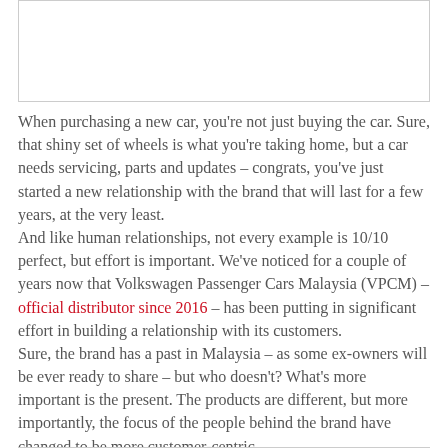[Figure (photo): Image placeholder at top of page, bordered rectangle]
When purchasing a new car, you're not just buying the car. Sure, that shiny set of wheels is what you're taking home, but a car needs servicing, parts and updates – congrats, you've just started a new relationship with the brand that will last for a few years, at the very least.
And like human relationships, not every example is 10/10 perfect, but effort is important. We've noticed for a couple of years now that Volkswagen Passenger Cars Malaysia (VPCM) – official distributor since 2016 – has been putting in significant effort in building a relationship with its customers.
Sure, the brand has a past in Malaysia – as some ex-owners will be ever ready to share – but who doesn't? What's more important is the present. The products are different, but more importantly, the focus of the people behind the brand have changed to be more customer-centric.